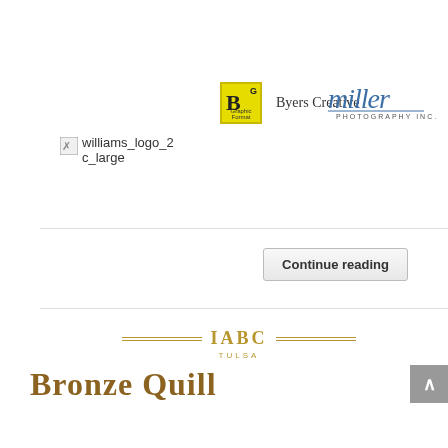[Figure (logo): Byers Creative logo with yellow/green box containing bold B, text 'Byers Creative']
[Figure (logo): Miller Photography Inc. handwritten script logo in blue]
[Figure (logo): Broken image placeholder for williams_logo_2c_large]
Continue reading
[Figure (logo): IABC Tulsa Bronze Quill award logo with decorative feather quill and gold text]